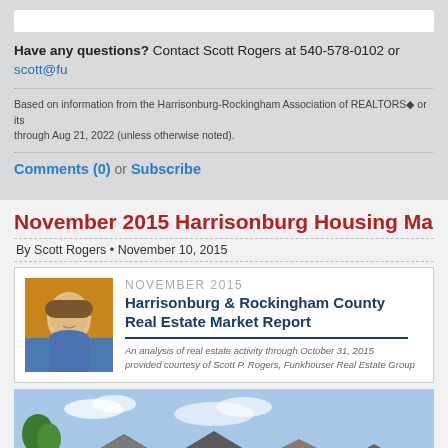Have any questions? Contact Scott Rogers at 540-578-0102 or scott@fu...
Based on information from the Harrisonburg-Rockingham Association of REALTORS® or its through Aug 21, 2022 (unless otherwise noted).
Comments (0)  or  Subscribe
November 2015 Harrisonburg Housing Ma...
By Scott Rogers • November 10, 2015
[Figure (photo): Report card with headshot of Scott Rogers and title: NOVEMBER 2015 Harrisonburg & Rockingham County Real Estate Market Report. An analysis of real estate activity through October 31, 2015 provided courtesy of Scott P. Rogers, Funkhouser Real Estate Group]
[Figure (photo): Photograph of suburban houses with rooftops and blue sky]